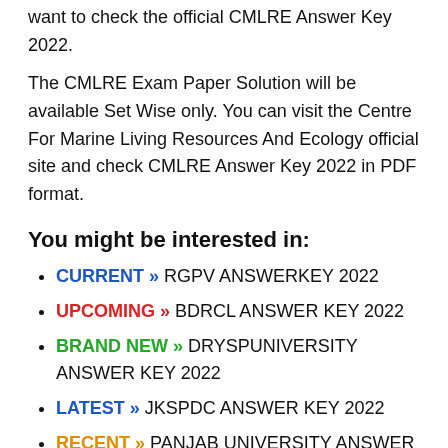want to check the official CMLRE Answer Key 2022.
The CMLRE Exam Paper Solution will be available Set Wise only. You can visit the Centre For Marine Living Resources And Ecology official site and check CMLRE Answer Key 2022 in PDF format.
You might be interested in:
CURRENT » RGPV ANSWERKEY 2022
UPCOMING » BDRCL ANSWER KEY 2022
BRAND NEW » DRYSPUNIVERSITY ANSWER KEY 2022
LATEST » JKSPDC ANSWER KEY 2022
RECENT » PANJAB UNIVERSITY ANSWER